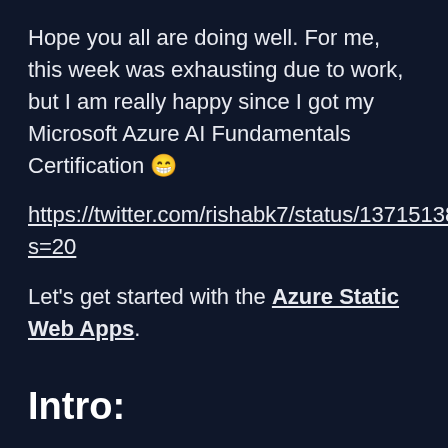Hope you all are doing well. For me, this week was exhausting due to work, but I am really happy since I got my Microsoft Azure AI Fundamentals Certification 😁
https://twitter.com/rishabk7/status/1371513830082220036?s=20
Let's get started with the Azure Static Web Apps.
Intro: